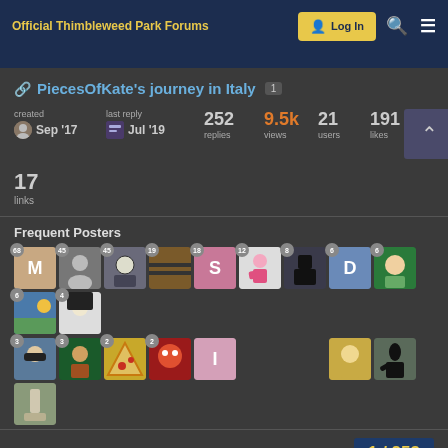Official Thimbleweed Park Forums
PiecesOfKate's journey in Italy
created Sep '17  last reply Jul '19  252 replies  9.5k views  21 users  191 likes  17 links
Frequent Posters
Popular Links
1 / 253